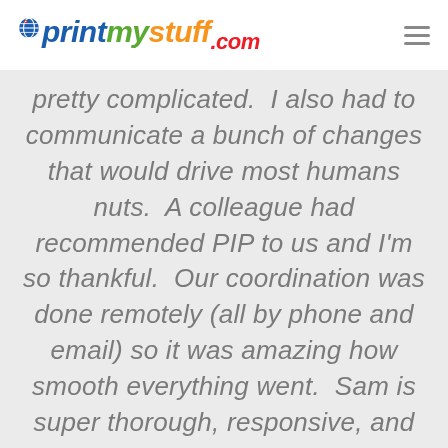printmystuff.com
pretty complicated.  I also had to communicate a bunch of changes that would drive most humans nuts.  A colleague had recommended PIP to us and I'm so thankful.  Our coordination was done remotely (all by phone and email) so it was amazing how smooth everything went.  Sam is super thorough, responsive, and patient, everything you need when you're in a panic and state of disarray.  I would highly